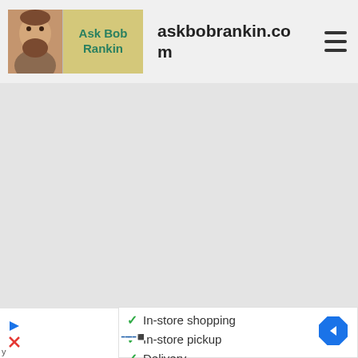Ask Bob Rankin — askbobrankin.com
[Figure (screenshot): Large grey empty content area, likely an ad placeholder]
[Figure (infographic): Google Maps-style ad listing with checkmarks: In-store shopping, In-store pickup, Delivery. Navigation arrow icon on right.]
✓ In-store shopping
✓ In-store pickup
✓ Delivery